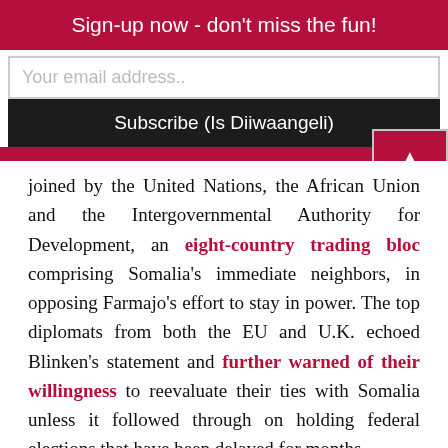Sign-up now - don't miss the fun!
Your email address..
Subscribe (Is Diiwaangeli)
joined by the United Nations, the African Union and the Intergovernmental Authority for Development, an eight-country trading bloc comprising Somalia's immediate neighbors, in opposing Farmajo's effort to stay in power. The top diplomats from both the EU and U.K. echoed Blinken's statement and further warned of their willingness to reevaluate their ties with Somalia unless it followed through on holding federal elections that have been delayed for months.
The Somali opposition has rejected Farmajo's hold on the presidency, given that his mandate expired on Feb. 8, but he defended the term extension by arguing that the two-year delay would allow the country to prepare for an election based